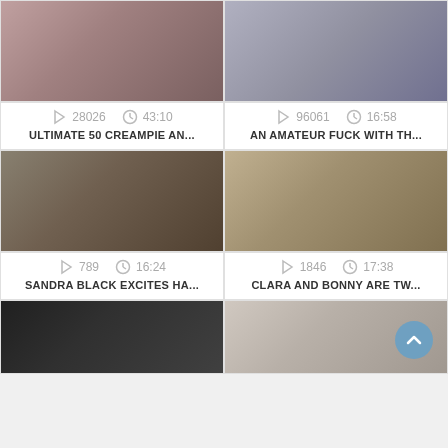[Figure (photo): Video thumbnail top left]
[Figure (photo): Video thumbnail top right]
28026   43:10
ULTIMATE 50 CREAMPIE AN...
96061   16:58
AN AMATEUR FUCK WITH TH...
[Figure (photo): Video thumbnail middle left]
[Figure (photo): Video thumbnail middle right]
789   16:24
SANDRA BLACK EXCITES HA...
1846   17:38
CLARA AND BONNY ARE TW...
[Figure (photo): Video thumbnail bottom left]
[Figure (photo): Video thumbnail bottom right with scroll button]